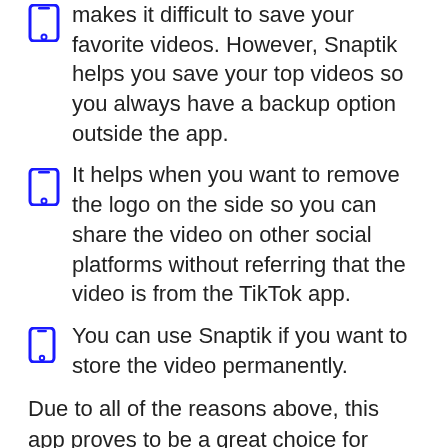makes it difficult to save your favorite videos. However, Snaptik helps you save your top videos so you always have a backup option outside the app.
It helps when you want to remove the logo on the side so you can share the video on other social platforms without referring that the video is from the TikTok app.
You can use Snaptik if you want to store the video permanently.
Due to all of the reasons above, this app proves to be a great choice for users.